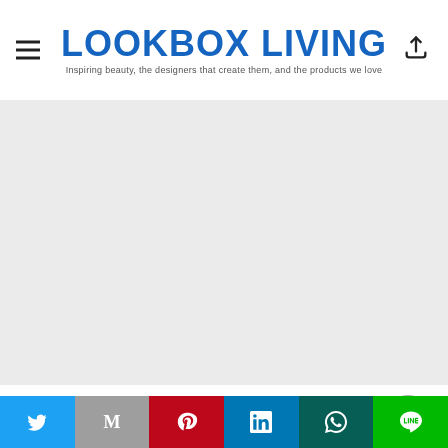LOOKBOX LIVING — Inspiring beauty, the designers that create them, and the products we love
[Figure (photo): Large image placeholder area (light grey background), main article photo]
The modern contemporary design and neutral colour palette of the penthouse lend themselves to a relaxed atmosphere in the bathroom, which features a subtle play on patterns. The intimate space combines white elongated
Social share bar: Twitter, Gmail, Pinterest, LinkedIn, WhatsApp, LINE